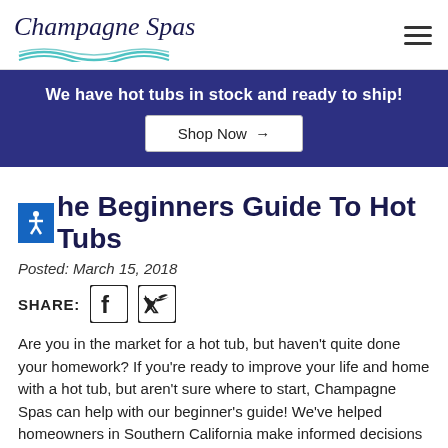Champagne Spas
We have hot tubs in stock and ready to ship!
Shop Now →
The Beginners Guide To Hot Tubs
Posted: March 15, 2018
SHARE:
Are you in the market for a hot tub, but haven't quite done your homework? If you're ready to improve your life and home with a hot tub, but aren't sure where to start, Champagne Spas can help with our beginner's guide! We've helped homeowners in Southern California make informed decisions about the best hot tubs